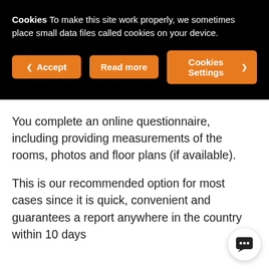Cookies To make this site work properly, we sometimes place small data files called cookies on your device.
[Figure (screenshot): Three orange buttons: Accept, Read more, Cookies Settings]
You complete an online questionnaire, including providing measurements of the rooms, photos and floor plans (if available).
This is our recommended option for most cases since it is quick, convenient and guarantees a report anywhere in the country within 10 days